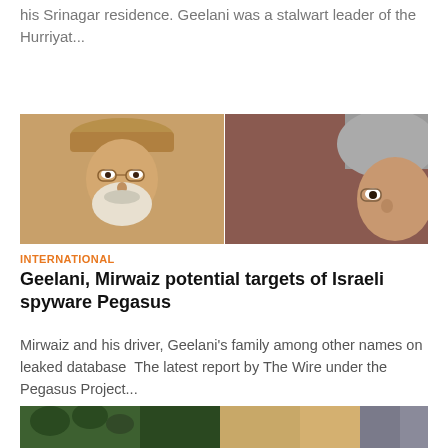his Srinagar residence. Geelani was a stalwart leader of the Hurriyat...
[Figure (photo): Side-by-side photo of two men wearing traditional Kashmiri caps (karakul/pakul hats). Left: elderly man with white beard and glasses. Right: younger man with glasses.]
INTERNATIONAL
Geelani, Mirwaiz potential targets of Israeli spyware Pegasus
Mirwaiz and his driver, Geelani's family among other names on leaked database  The latest report by The Wire under the Pegasus Project...
[Figure (photo): Partial bottom image showing outdoor scene with trees and buildings.]